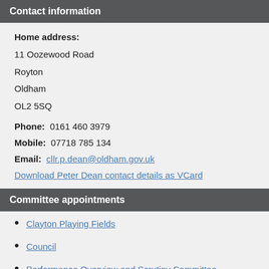Contact information
Home address:
11 Oozewood Road
Royton
Oldham
OL2 5SQ
Phone: 0161 460 3979
Mobile: 07718 785 134
Email: cllr.p.dean@oldham.gov.uk
Download Peter Dean contact details as VCard
Committee appointments
Clayton Playing Fields
Council
Performance Overview and Scrutiny Committee (Substitute)
Planning Committee (Chair)